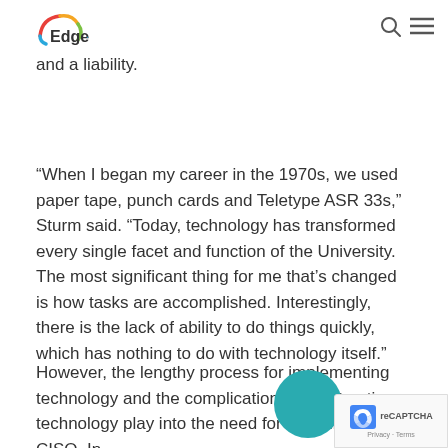Edge
owning a cyber liability insurance policy. Now, not having a policy is the exception – and a liability.
“When I began my career in the 1970s, we used paper tape, punch cards and Teletype ASR 33s,” Sturm said. “Today, technology has transformed every single facet and function of the University. The most significant thing for me that’s changed is how tasks are accomplished. Interestingly, there is the lack of ability to do things quickly, which has nothing to do with technology itself.”
However, the lengthy process for implementing technology and the complications of contracting technology play into the need for a qualified CISO. In